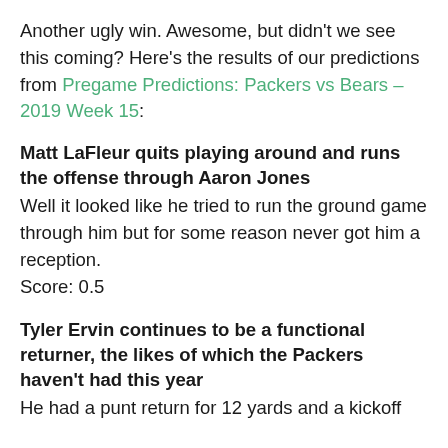Another ugly win. Awesome, but didn't we see this coming? Here's the results of our predictions from Pregame Predictions: Packers vs Bears – 2019 Week 15:
Matt LaFleur quits playing around and runs the offense through Aaron Jones
Well it looked like he tried to run the ground game through him but for some reason never got him a reception.
Score: 0.5
Tyler Ervin continues to be a functional returner, the likes of which the Packers haven't had this year
He had a punt return for 12 yards and a kickoff